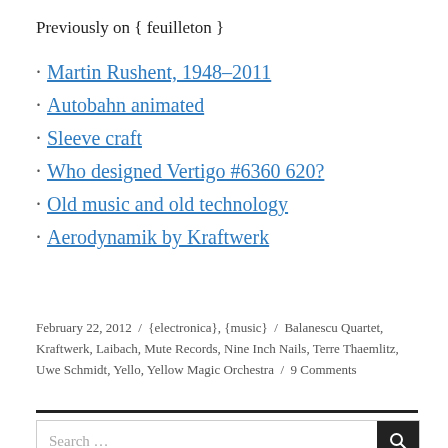Previously on { feuilleton }
Martin Rushent, 1948–2011
Autobahn animated
Sleeve craft
Who designed Vertigo #6360 620?
Old music and old technology
Aerodynamik by Kraftwerk
February 22, 2012 / {electronica}, {music} / Balanescu Quartet, Kraftwerk, Laibach, Mute Records, Nine Inch Nails, Terre Thaemlitz, Uwe Schmidt, Yello, Yellow Magic Orchestra / 9 Comments